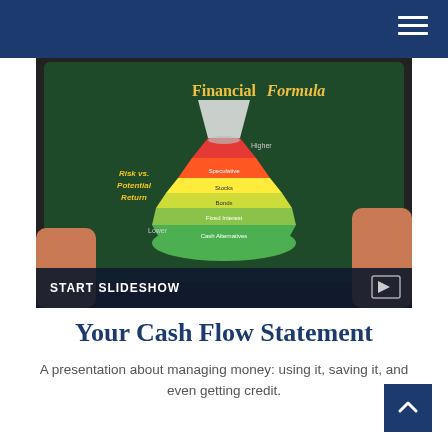[Figure (screenshot): Tablet showing a financial formula infographic with a flask/beaker diagram showing 'Risk vs. Potential Return' with layers labeled: Higher (top), Speculative, Stocks, Bonds, Fixed Interest, Cash Alternatives, Lower (bottom). Text reads 'Financial Formula' at top.]
Your Cash Flow Statement
A presentation about managing money: using it, saving it, and even getting credit.